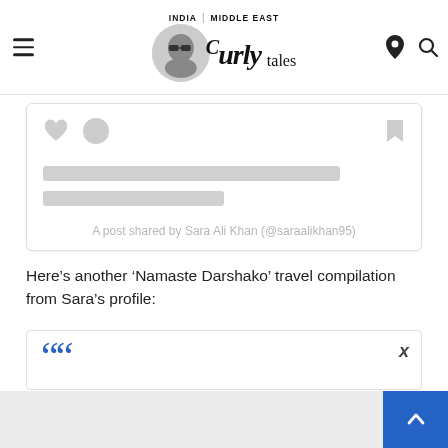INDIA | MIDDLE EAST — Curly Tales
[Figure (screenshot): Embedded social media post placeholder card with heart, comment bubble, and bookmark icons, two placeholder text lines, and caption: A post shared by Sara Ali Khan (@saraalikhan95)]
Here’s another ‘Namaste Darshako’ travel compilation from Sara’s profile:
[Figure (screenshot): Quote embed widget with large blue double-quotation mark and X close button, with grey background footer]